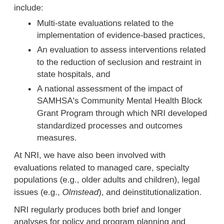include:
Multi-state evaluations related to the implementation of evidence-based practices,
An evaluation to assess interventions related to the reduction of seclusion and restraint in state hospitals, and
A national assessment of the impact of SAMHSA's Community Mental Health Block Grant Program through which NRI developed standardized processes and outcomes measures.
At NRI, we have also been involved with evaluations related to managed care, specialty populations (e.g., older adults and children), legal issues (e.g., Olmstead), and deinstitutionalization.
NRI regularly produces both brief and longer analyses for policy and program planning and evaluation. Recent brief reports include analyses of state mental health budget gaps and the closing of